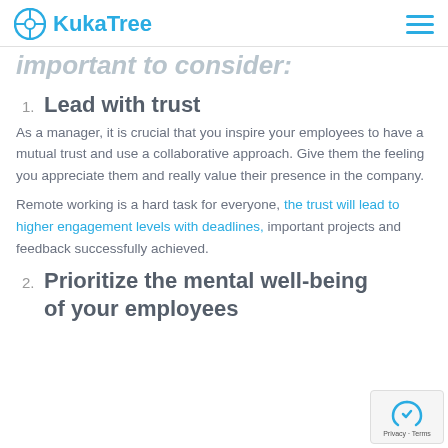KukaTree
important to consider:
1. Lead with trust
As a manager, it is crucial that you inspire your employees to have a mutual trust and use a collaborative approach. Give them the feeling you appreciate them and really value their presence in the company.
Remote working is a hard task for everyone, the trust will lead to higher engagement levels with deadlines, important projects and feedback successfully achieved.
2. Prioritize the mental well-being of your employees